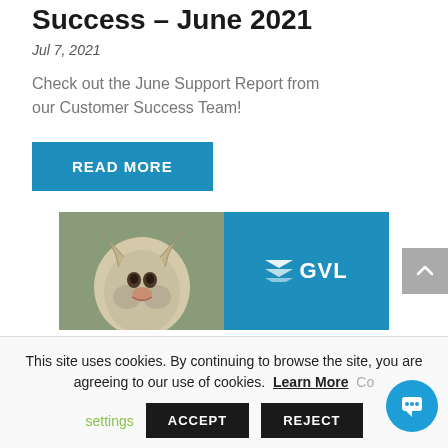Success – June 2021
Jul 7, 2021
Check out the June Support Report from our Customer Success Team!
READ MORE
[Figure (photo): Banner image with a dog photo on the left and GVL logo on a blue background on the right]
This site uses cookies. By continuing to browse the site, you are agreeing to our use of cookies. Learn More Co
settings  ACCEPT  REJECT